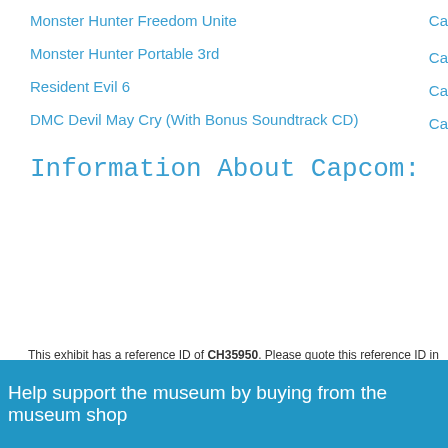Monster Hunter Freedom Unite    Ca
Monster Hunter Portable 3rd    Ca
Resident Evil 6    Ca
DMC Devil May Cry (With Bonus Soundtrack CD)    Ca
Information About Capcom:
This exhibit has a reference ID of CH35950. Please quote this reference ID in any commun
Help support the museum by buying from the museum shop